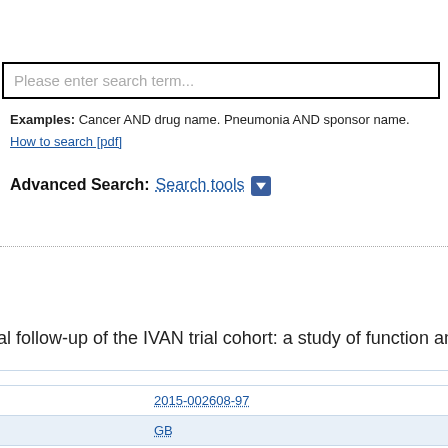Please enter search term...
Examples: Cancer AND drug name. Pneumonia AND sponsor name.
How to search [pdf]
Advanced Search: Search tools
al follow-up of the IVAN trial cohort: a study of function and
|  |  |
| --- | --- |
|  |  |
|  | 2015-002608-97 |
|  | GB |